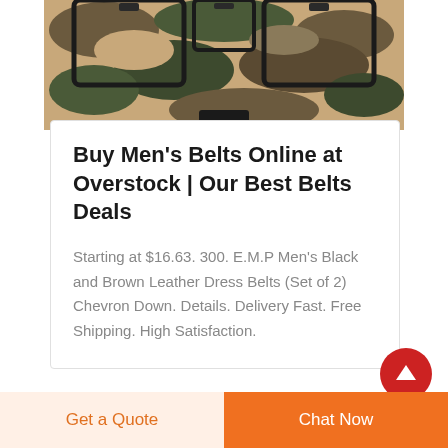[Figure (photo): Camouflage multi-pocket bag/organizer with black trim and handle, partially cropped at top of page]
Buy Men's Belts Online at Overstock | Our Best Belts Deals
Starting at $16.63. 300. E.M.P Men's Black and Brown Leather Dress Belts (Set of 2) Chevron Down. Details. Delivery Fast. Free Shipping. High Satisfaction.